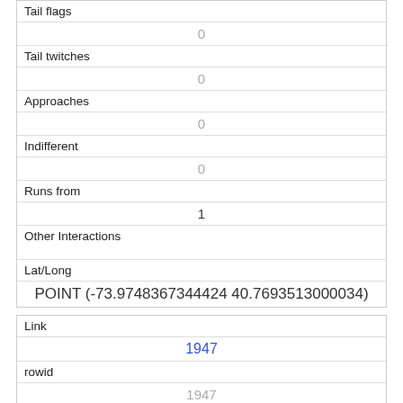| Tail flags | 0 |
| Tail twitches | 0 |
| Approaches | 0 |
| Indifferent | 0 |
| Runs from | 1 |
| Other Interactions |  |
| Lat/Long | POINT (-73.9748367344424 40.7693513000034) |
| Link | 1947 |
| rowid | 1947 |
| longitude |  |